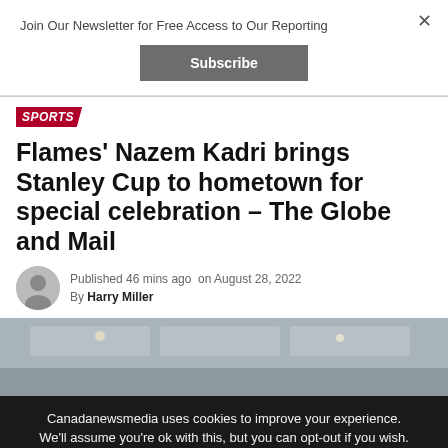Join Our Newsletter for Free Access to Our Reporting
Subscribe
×
SPORTS
Flames' Nazem Kadri brings Stanley Cup to hometown for special celebration – The Globe and Mail
Published 46 mins ago  on August 28, 2022
By Harry Miller
[Figure (photo): Partial view of an indoor room with ceiling, lighting visible; image partially cropped by cookie consent overlay]
Canadanewsmedia uses cookies to improve your experience. We'll assume you're ok with this, but you can opt-out if you wish.
Cookie settings   ACCEPT